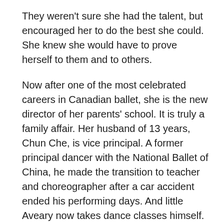They weren't sure she had the talent, but encouraged her to do the best she could. She knew she would have to prove herself to them and to others.
Now after one of the most celebrated careers in Canadian ballet, she is the new director of her parents' school. It is truly a family affair. Her husband of 13 years, Chun Che, is vice principal. A former principal dancer with the National Ballet of China, he made the transition to teacher and choreographer after a car accident ended his performing days. And little Aveary now takes dance classes himself. Chan talks to ParentsCanada about her transitional year, and as an educator has some advice for parents struggling to maintain balance in their children's lives.
PC: How has your first year of retirement from performing